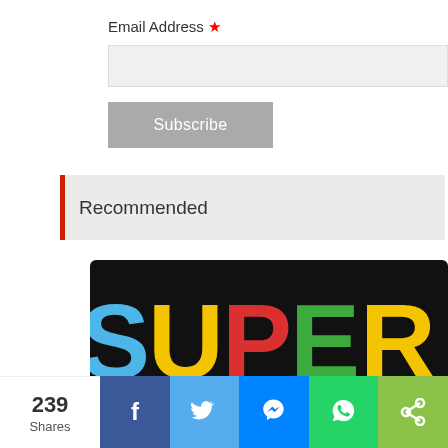Email Address *
Subscribe
Recommended
[Figure (photo): Super Mario logo with colorful letters (blue, yellow, red, green) on black background]
239 Shares